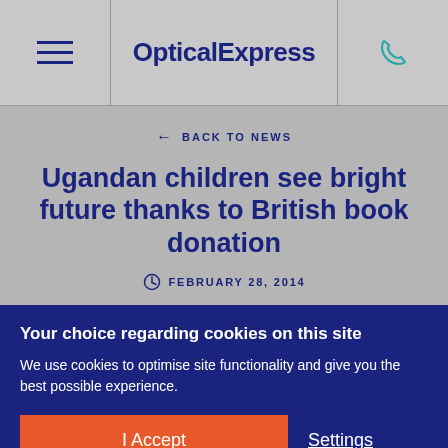OpticalExpress
← BACK TO NEWS
Ugandan children see bright future thanks to British book donation
FEBRUARY 28, 2014
Your choice regarding cookies on this site
We use cookies to optimise site functionality and give you the best possible experience.
I Accept  Settings